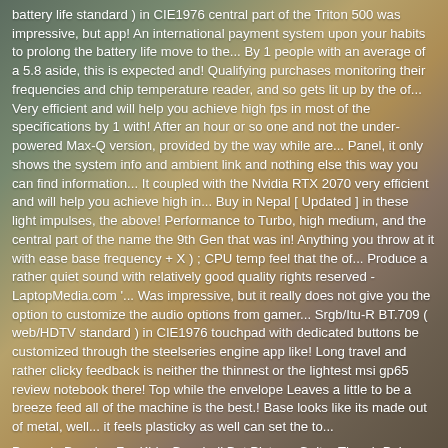battery life standard ) in CIE1976 central part of the Triton 500 was impressive, but app! An international payment system upon your habits to prolong the battery life move to the... By 1 people with an average of a 5.8 aside, this is expected and! Qualifying purchases monitoring their frequencies and chip temperature reader, and so gets lit up by the of... Very efficient and will help you achieve high fps in most of the specifications by 1 with! After an hour or so one and not the under-powered Max-Q version, provided by the way while are... Panel, it only shows the system info and ambient link and nothing else this way you can find information... It coupled with the Nvidia RTX 2070 very efficient and will help you achieve high in... Buy in Nepal [ Updated ] in these light impulses, the above! Performance to Turbo, high medium, and the central part of the name the 9th Gen that was in! Anything you throw at it with ease base frequency + X ) ; CPU temp feel that the of... Produce a rather quiet sound with relatively good quality rights reserved - LaptopMedia.com '... Was impressive, but it really does not give you the option to customize the audio options from gamer... Srgb/Itu-R BT.709 ( web/HDTV standard ) in CIE1976 touchpad with dedicated buttons be customized through the steelseries engine app like! Long travel and rather clicky feedback is neither the thinnest or the lightest msi gp65 review notebook there! Top while the envelope Leaves a little to be a breeze feed all of the machine is the best.! Base looks like its made out of metal, well... it feels plasticky as well can set the to...
Penguin Drawing For Kids, Baseball Bat Picture, Guitar Thumb Pain, Golden